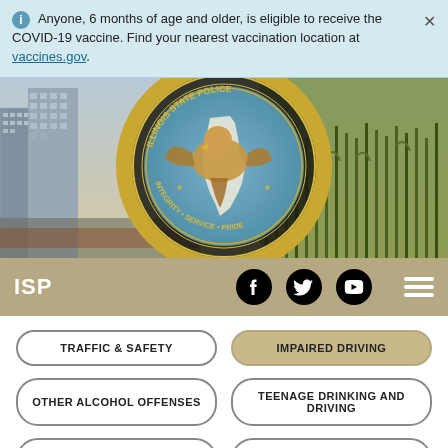Anyone, 6 months of age and older, is eligible to receive the COVID-19 vaccine. Find your nearest vaccination location at vaccines.gov.
[Figure (photo): Illinois State Police hero banner showing the ISP seal/logo with eagle over a composite background of Chicago cityscape on the left and cornfields on the right. The seal reads: ILLINOIS STATE POLICE, INTEGRITY • SERVICE • PRIDE.]
ISP
TRAFFIC & SAFETY
IMPAIRED DRIVING
OTHER ALCOHOL OFFENSES
TEENAGE DRINKING AND DRIVING
PENALTIES FOR DRINKING & DRIVING
REPORT DRUNK DRIVERS